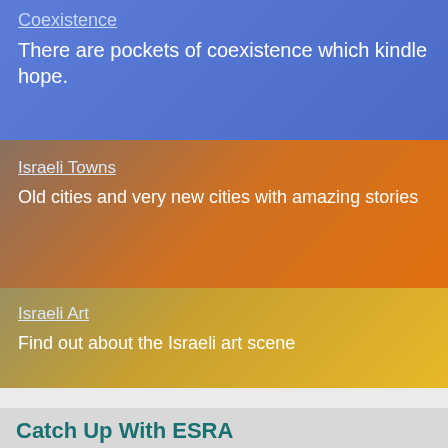Coexistence
There are pockets of coexistence which kindle hope.
Israeli Towns
Old cities and very new cities with amazing stories
Israeli Art
Find out about the Israeli art scene
The best tours in Israel with ESRA members
Travel Israel
Catch Up With ESRA